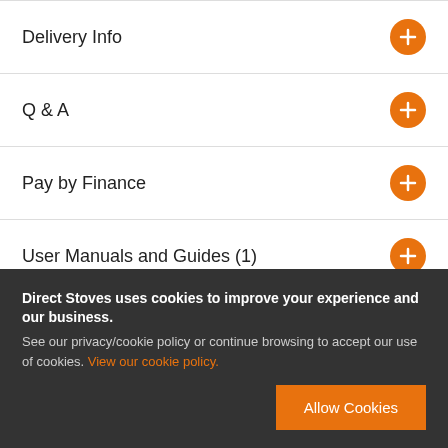Delivery Info
Q & A
Pay by Finance
User Manuals and Guides (1)
Direct Stoves uses cookies to improve your experience and our business. See our privacy/cookie policy or continue browsing to accept our use of cookies. View our cookie policy.
Allow Cookies